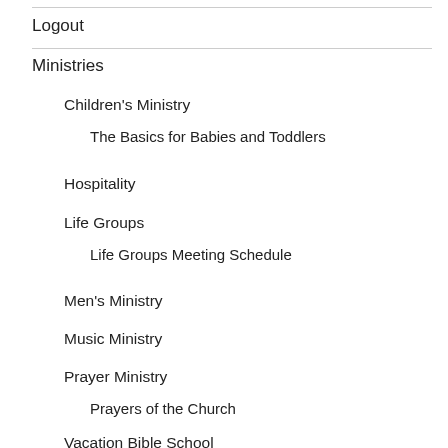Logout
Ministries
Children's Ministry
The Basics for Babies and Toddlers
Hospitality
Life Groups
Life Groups Meeting Schedule
Men's Ministry
Music Ministry
Prayer Ministry
Prayers of the Church
Vacation Bible School